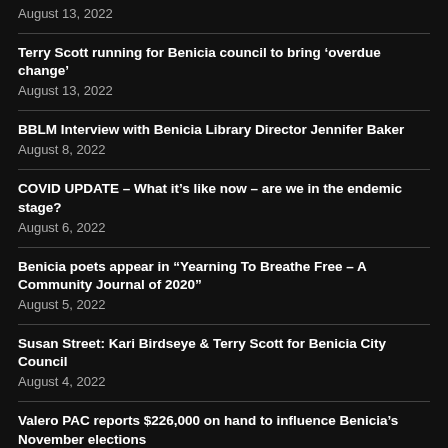August 13, 2022
Terry Scott running for Benicia council to bring ‘overdue change’
August 13, 2022
BBLM Interview with Benicia Library Director Jennifer Baker
August 8, 2022
COVID UPDATE – What it’s like now – are we in the endemic stage?
August 6, 2022
Benicia poets appear in “Yearning To Breathe Free – A Community Journal of 2020”
August 5, 2022
Susan Street: Kari Birdseye & Terry Scott for Benicia City Council
August 4, 2022
Valero PAC reports $226,000 on hand to influence Benicia’s November elections
August 2, 2022
What’s good for the climate – and not so good – in the new Inflation Reduction Act
August 2, 2022